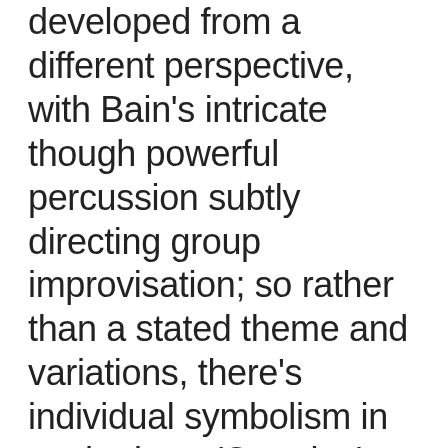developed from a different perspective, with Bain's intricate though powerful percussion subtly directing group improvisation; so rather than a stated theme and variations, there's individual symbolism in each piece. 'Surprise' begins with a drum spotlight (so a surprise in itself), and then the solos from three written cues start to arrive – not in a traditional way, but by interrupting each other, challenging more conventional song formats. The free, opening section of 'Listening' sounds largely improvised, yet isn't, because it grows out of ten specific